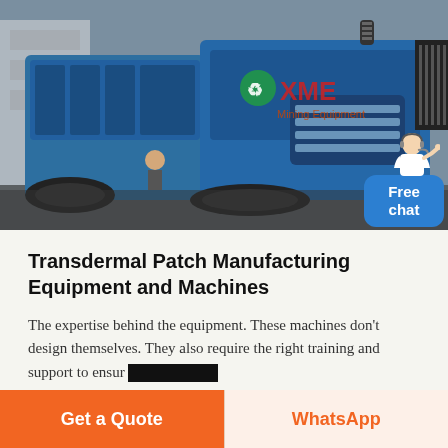[Figure (photo): Blue heavy industrial mining/crushing equipment machines parked outdoors with XME Mining Equipment logo visible on the machine body.]
Transdermal Patch Manufacturing Equipment and Machines
The expertise behind the equipment. These machines don't design themselves. They also require the right training and support to ensure [redacted]